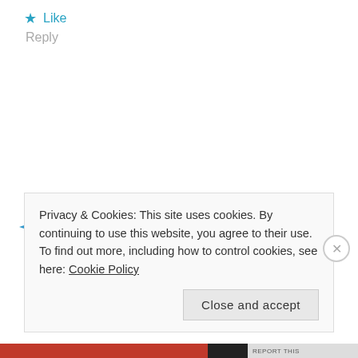★ Like
Reply
[Figure (logo): Blue star/asterisk-like avatar icon for user mehlescreen]
mehlescreen says:
March 24, 2022 at 4:07 pm
Hi The Christian Tech-Nerd- If you only knew how much time it would take for
Privacy & Cookies: This site uses cookies. By continuing to use this website, you agree to their use.
To find out more, including how to control cookies, see here: Cookie Policy
Close and accept